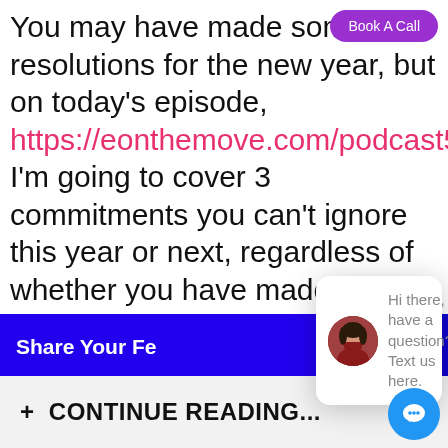[Figure (screenshot): Purple 'Book A Call' button pill in top right corner]
You may have made some resolutions for the new year, but on today's episode, https://eonthemove.com/podcast562, I'm going to cover 3 commitments you can't ignore this year or next, regardless of whether you have made them or not.
[Figure (screenshot): Gray 'close' pill button]
[Figure (screenshot): Blue 'Share Your Fe...' bar button]
[Figure (screenshot): Chat popup with avatar photo of woman and text: Hi there, have a question? Text us here.]
[Figure (screenshot): Gray '+ CONTINUE READING...' bar at bottom with blue chat icon button]